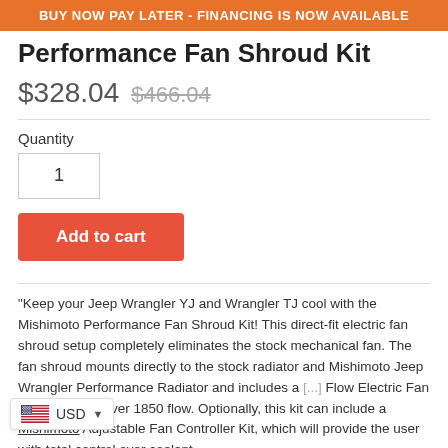BUY NOW PAY LATER - FINANCING IS NOW AVAILABLE
Performance Fan Shroud Kit
$328.04  $466.04
Quantity
1
Add to cart
"Keep your Jeep Wrangler YJ and Wrangler TJ cool with the Mishimoto Performance Fan Shroud Kit! This direct-fit electric fan shroud setup completely eliminates the stock mechanical fan. The fan shroud mounts directly to the stock radiator and Mishimoto Jeep Wrangler Performance Radiator and includes a [...]  Flow Electric Fan that produces over 1850 flow. Optionally, this kit can include a Mishimoto Adjustable Fan Controller Kit, which will provide the user with total control over coolant